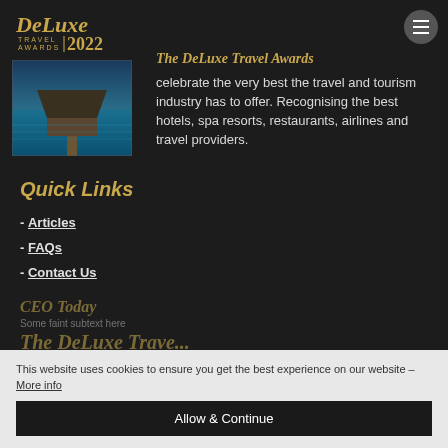[Figure (logo): DeLuxe Travel Awards 2022 logo in gold script with year]
[Figure (photo): Overwater bungalow resort with wooden pier over turquoise water]
The DeLuxe Travel Awards celebrate the very best the travel and tourism industry has to offer. Recognising the best hotels, spa resorts, restaurants, airlines and travel providers.
Quick Links
- Articles
- FAQs
- Contact Us
This website uses cookies to ensure you get the best experience on our website – More info
Allow & Continue